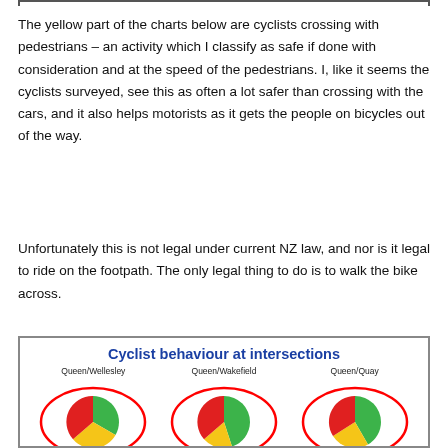The yellow part of the charts below are cyclists crossing with pedestrians – an activity which I classify as safe if done with consideration and at the speed of the pedestrians. I, like it seems the cyclists surveyed, see this as often a lot safer than crossing with the cars, and it also helps motorists as it gets the people on bicycles out of the way.
Unfortunately this is not legal under current NZ law, and nor is it legal to ride on the footpath. The only legal thing to do is to walk the bike across.
[Figure (pie-chart): Three pie charts showing cyclist behaviour at Queen/Wellesley, Queen/Wakefield, and Queen/Quay intersections. Each pie has red, green, and yellow segments with a red oval border.]